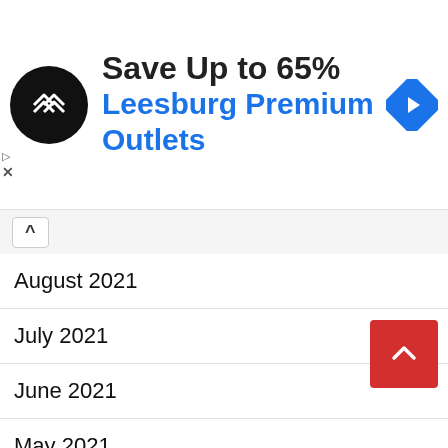[Figure (screenshot): Advertisement banner: black circular logo with double arrow symbol, text 'Save Up to 65%' in dark, 'Leesburg Premium Outlets' in blue, blue diamond navigation icon on right. Play and X controls on left side.]
August 2021
July 2021
June 2021
May 2021
April 2021
March 2021
February 2021
January 2021
December 2020
November 2020